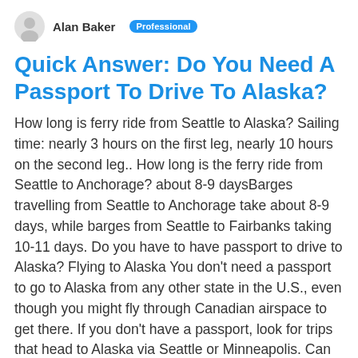Alan Baker  Professional
Quick Answer: Do You Need A Passport To Drive To Alaska?
How long is ferry ride from Seattle to Alaska? Sailing time: nearly 3 hours on the first leg, nearly 10 hours on the second leg.. How long is the ferry ride from Seattle to Anchorage? about 8-9 daysBarges travelling from Seattle to Anchorage take about 8-9 days, while barges from Seattle to Fairbanks taking 10-11 days. Do you have to have passport to drive to Alaska? Flying to Alaska You don't need a passport to go to Alaska from any other state in the U.S., even though you might fly through Canadian airspace to get there. If you don't have a passport, look for trips that head to Alaska via Seattle or Minneapolis. Can you get to Alaska by car? There is only one major road